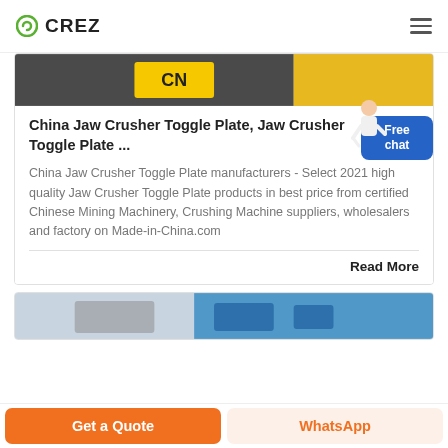CREZ
[Figure (photo): Top portion of a product card showing industrial machinery/jaw crusher equipment with CN branding visible]
China Jaw Crusher Toggle Plate, Jaw Crusher Toggle Plate ...
China Jaw Crusher Toggle Plate manufacturers - Select 2021 high quality Jaw Crusher Toggle Plate products in best price from certified Chinese Mining Machinery, Crushing Machine suppliers, wholesalers and factory on Made-in-China.com
Read More
[Figure (photo): Bottom card showing industrial machinery equipment against a blue sky background]
Get a Quote
WhatsApp